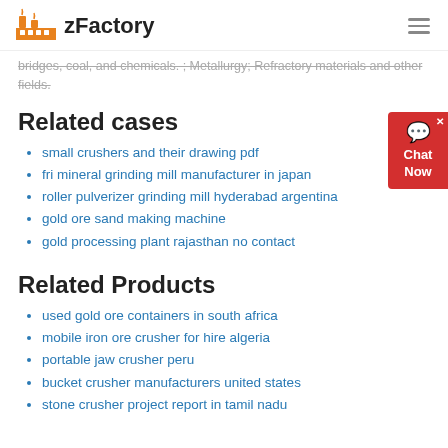zFactory
bridges, coal, and chemicals. ; Metallurgy; Refractory materials and other fields.
Related cases
small crushers and their drawing pdf
fri mineral grinding mill manufacturer in japan
roller pulverizer grinding mill hyderabad argentina
gold ore sand making machine
gold processing plant rajasthan no contact
Related Products
used gold ore containers in south africa
mobile iron ore crusher for hire algeria
portable jaw crusher peru
bucket crusher manufacturers united states
stone crusher project report in tamil nadu